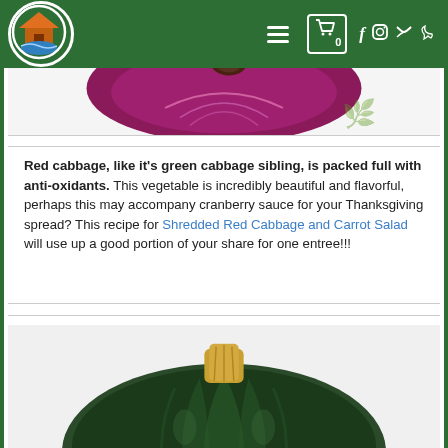[Figure (screenshot): Website navigation bar with circular logo, hamburger menu, cart icon showing 0, and social media icons (Facebook, Instagram, Twitter, phone) on green background]
[Figure (photo): Bottom portion of a red/purple cabbage cut in half, showing interior on white background]
Red cabbage, like it's green cabbage sibling, is packed full with anti-oxidants. This vegetable is incredibly beautiful and flavorful, perhaps this may accompany cranberry sauce for your Thanksgiving spread? This recipe for Shredded Red Cabbage and Carrot Salad will use up a good portion of your share for one entree!!!
[Figure (photo): Acorn squash with tan stem on dark green ribbed body, photographed from above on white background]